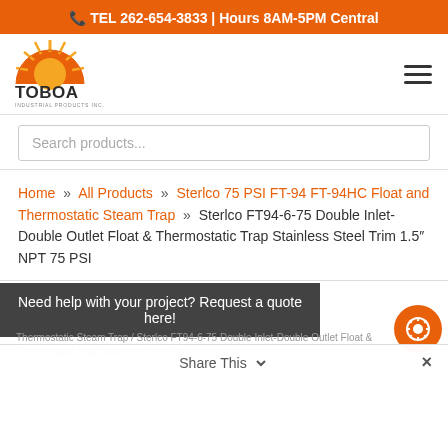TEL 262-654-3833 | Hours 8AM-5PM Central
[Figure (logo): TOBOA logo with orange sun/rays graphic above stylized text TOBOA]
Search products...
Home » All Products » Sterlco 75 PSI FT-94 FT-94HC Float and Thermostatic Steam Trap » Sterlco FT94-6-75 Double Inlet-Double Outlet Float & Thermostatic Trap Stainless Steel Trim 1.5" NPT 75 PSI
Need help with your project? Request a quote here!
Thermostatic Steam Trap / Sterlco FT94-6-75 Double Inlet-Double Outlet Float & Thermostatic Trap Stainless Steel Trim
Share This